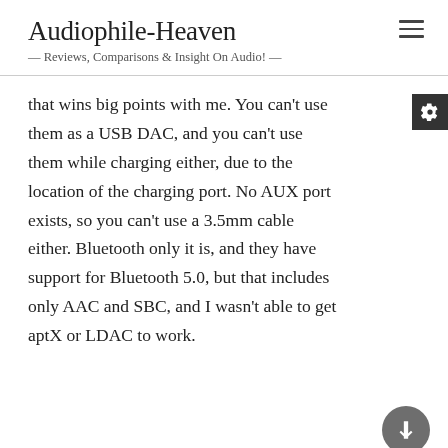Audiophile-Heaven — Reviews, Comparisons & Insight On Audio! —
that wins big points with me. You can't use them as a USB DAC, and you can't use them while charging either, due to the location of the charging port. No AUX port exists, so you can't use a 3.5mm cable either. Bluetooth only it is, and they have support for Bluetooth 5.0, but that includes only AAC and SBC, and I wasn't able to get aptX or LDAC to work.
Sound Quality